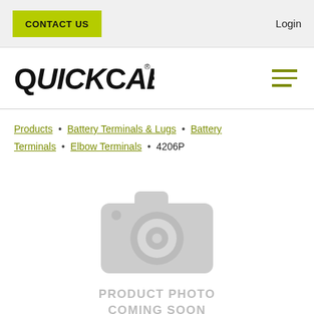CONTACT US | Login
[Figure (logo): QuickCable logo in black with registered trademark symbol]
Products • Battery Terminals & Lugs • Battery Terminals • Elbow Terminals • 4206P
[Figure (illustration): Grey camera icon placeholder with text PRODUCT PHOTO COMING SOON]